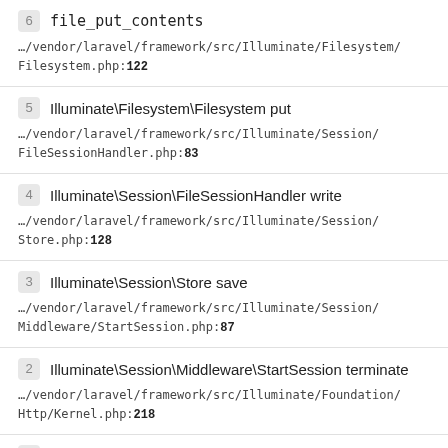6 file_put_contents
…/vendor/laravel/framework/src/Illuminate/Filesystem/Filesystem.php:122
5 Illuminate\Filesystem\Filesystem put
…/vendor/laravel/framework/src/Illuminate/Session/FileSessionHandler.php:83
4 Illuminate\Session\FileSessionHandler write
…/vendor/laravel/framework/src/Illuminate/Session/Store.php:128
3 Illuminate\Session\Store save
…/vendor/laravel/framework/src/Illuminate/Session/Middleware/StartSession.php:87
2 Illuminate\Session\Middleware\StartSession terminate
…/vendor/laravel/framework/src/Illuminate/Foundation/Http/Kernel.php:218
1 Illuminate\Foundation\Http\Kernel terminateMiddleware
…/vendor/laravel/framework/src/Illuminate/Foundation/